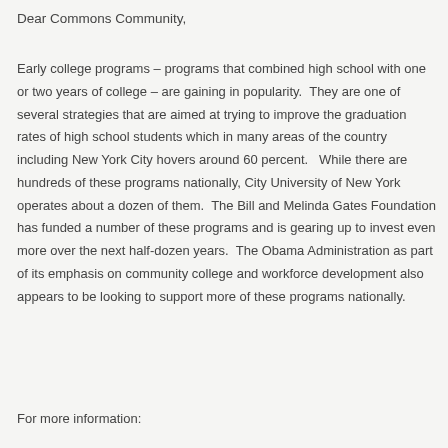Dear Commons Community,
Early college programs – programs that combined high school with one or two years of college – are gaining in popularity.  They are one of several strategies that are aimed at trying to improve the graduation rates of high school students which in many areas of the country including New York City hovers around 60 percent.   While there are hundreds of these programs nationally, City University of New York operates about a dozen of them.  The Bill and Melinda Gates Foundation has funded a number of these programs and is gearing up to invest even more over the next half-dozen years.  The Obama Administration as part of its emphasis on community college and workforce development also appears to be looking to support more of these programs nationally.
For more information: